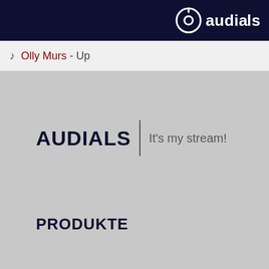audials
♪ Olly Murs - Up
[Figure (logo): Audials logo with circular icon and text 'audials' on dark navy background]
AUDIALS | It's my stream!
PRODUKTE